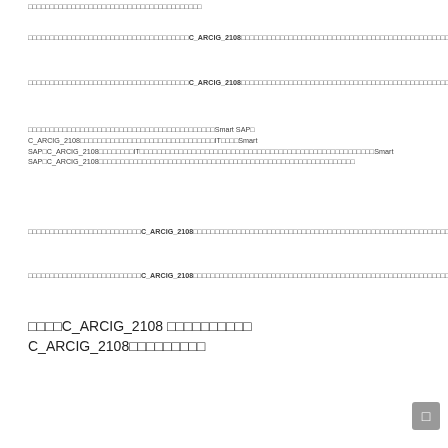xxxxxxxxxxxxxxxxxxxxxxxxxxxxxxxxxxxxxxxx
xxxxxxxxxxxxxxxxxxxxxxxxxxxxxxxxxxxxxxxxxxxxxxxxxxxxxxC_ARCIG_2108xxxxxxxxxxxxxxxxxxxxxxxxxxxxxxxxxxxxxxxxxxxxxxxxxxxxxxxxxxxxxxxxxxxxxxxxxxxxxxxxxxxxxxxxxxxxxxxxxxxxxxxxxxxxxxxx
xxxxxxxxxxxxxxxxxxxxxxxxxxxxxxxxxxxxxxxxxxxxxxxxxxxxxxC_ARCIG_2108xxxxxxxxxxxxxxxxxxxxxxxxxxxxxxxxxxxxxxxxxxxxxxxxxxxxxxxxxxxxxxxxxxxxxxxxxxxxxxxxxxxxxxxxxxxxxxxxxxxxxxxxxxxxxxxxxxxxxxxxxxxxxxxx
xxxxxxxxxxxxxxxxxxxxxxxxxxxxxxxxxxxxxxxxxxxxxxxxxxxxxxxxxxxxxxSmart SAPxC_ARCIG_2108xxxxxxxxxxxxxxxxxxxxxxxxxxxxxxxxxxxxxxITxxxxSmart SAPxC_ARCIG_2108xxxxxxxxITxxxxxxxxxxxxxxxxxxxxxxxxxxxxxxxxxxxxxxxxxxxxxxxxxxxxxxxxxxxxxxxxSmart SAPxC_ARCIG_2108xxxxxxxxxxxxxxxxxxxxxxxxxxxxxxxxxxxxxxxxx
xxxxxxxxxxxxxxxxxxxxxxxxxxxxxxxxxxxxxxC_ARCIG_2108xxxxxxxxxxxxxxxxxxxxxxxxxxxxxxxxxxxxxxxxxxxxxxxxxxxxxxxxxxxxxxxxxxxxxxxxxxxxxxxxxxxxxx
xxxxxxxxxxxxxxxxxxxxxxxxxxxxxxxxxxxxxxC_ARCIG_2108xxxxxxxxxxxxxxxxxxxxxxxxxxxxxxxxxxxxxxxxxxxxxxxxxxxxxxxxxxxxxxxxxxxxxxxxxxxxxxxxxxxxxx
xxxxC_ARCIG_2108 xxxxxxxxxxxxxxxxxxxx C_ARCIG_2108xxxxxxxxxxxxxxxxx